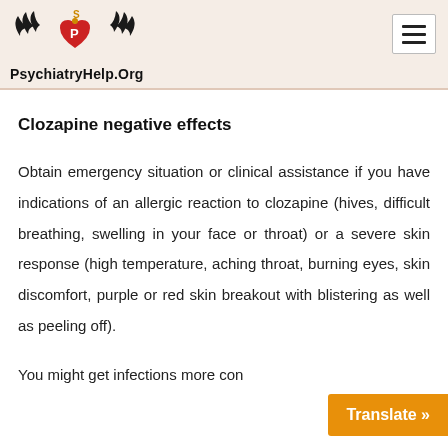PsychiatryHelp.Org
Clozapine negative effects
Obtain emergency situation or clinical assistance if you have indications of an allergic reaction to clozapine (hives, difficult breathing, swelling in your face or throat) or a severe skin response (high temperature, aching throat, burning eyes, skin discomfort, purple or red skin breakout with blistering as well as peeling off).
You might get infections more con... serious, fatal infections. Call...